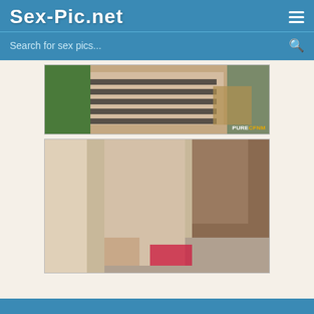Sex-Pic.net
Search for sex pics...
[Figure (photo): Outdoor photo showing a woman in a striped bikini top holding something, with a PureCFNM watermark in bottom right]
[Figure (photo): Outdoor photo showing a person standing on a patio, with another person on the ground wearing red]